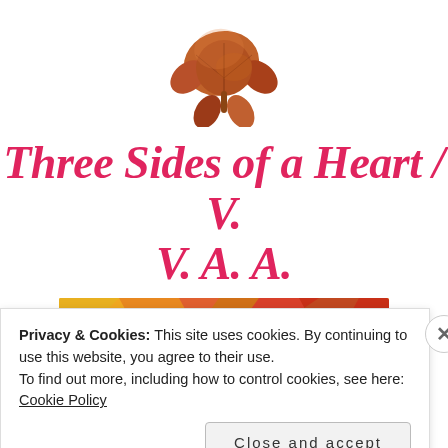[Figure (illustration): A watercolor autumn maple leaf in red and brown tones]
Three Sides of a Heart / V. V. A. A.
[Figure (illustration): Book cover image with geometric orange/red triangles and author names: RENÉE AHDIEH • RAE CARSON, BRANDY COLBERT • KATIE COTUGNO, LAMAR GILES • TESSA GRATTON]
Privacy & Cookies: This site uses cookies. By continuing to use this website, you agree to their use.
To find out more, including how to control cookies, see here: Cookie Policy
Close and accept